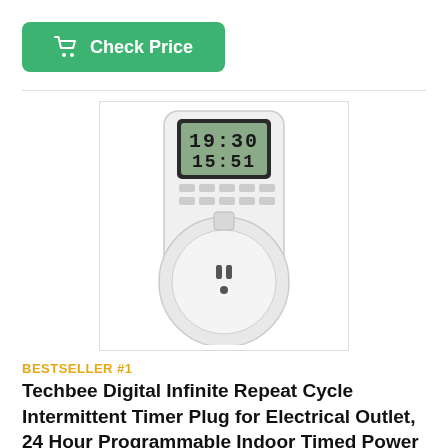[Figure (other): Green 'Check Price' button with shopping cart icon, white text]
[Figure (photo): Photo of a white digital timer plug with LCD display showing 19:30 and 15:51, with a standard US outlet socket]
BESTSELLER #1
Techbee Digital Infinite Repeat Cycle Intermittent Timer Plug for Electrical Outlet, 24 Hour Programmable Indoor Timed Power Switch with Countdown